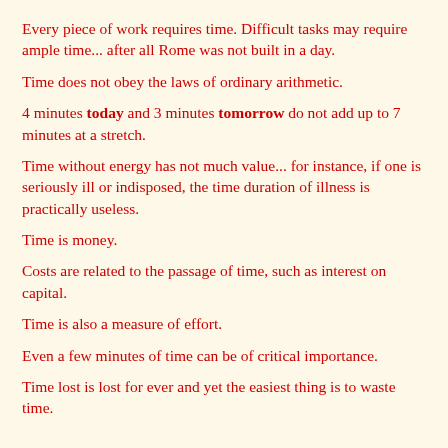Every piece of work requires time. Difficult tasks may require ample time... after all Rome was not built in a day.
Time does not obey the laws of ordinary arithmetic.
4 minutes today and 3 minutes tomorrow do not add up to 7 minutes at a stretch.
Time without energy has not much value... for instance, if one is seriously ill or indisposed, the time duration of illness is practically useless.
Time is money.
Costs are related to the passage of time, such as interest on capital.
Time is also a measure of effort.
Even a few minutes of time can be of critical importance.
Time lost is lost for ever and yet the easiest thing is to waste time.